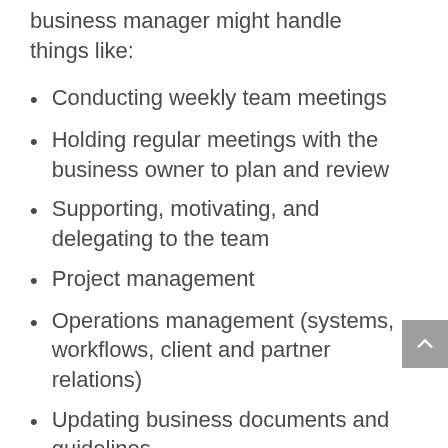business manager might handle things like:
Conducting weekly team meetings
Holding regular meetings with the business owner to plan and review
Supporting, motivating, and delegating to the team
Project management
Operations management (systems, workflows, client and partner relations)
Updating business documents and guidelines
In an established online business, a